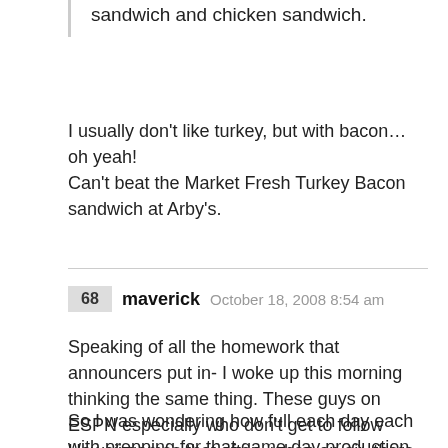sandwich and chicken sandwich.
I usually don’t like turkey, but with bacon… oh yeah!
Can’t beat the Market Fresh Turkey Bacon sandwich at Arby’s.
68 maverick October 18, 2008 8:54 am
Speaking of all the homework that announcers put in- I woke up this morning thinking the same thing. These guys on ESPN especially who don’t get to follow Hawaii games that often, when on air, there doing a pretty darn good job with current and past facts. Stats, past game moments, etc.
So I was wondering how full each day each with prepping for that game day production to accurately call a game with the two teams?